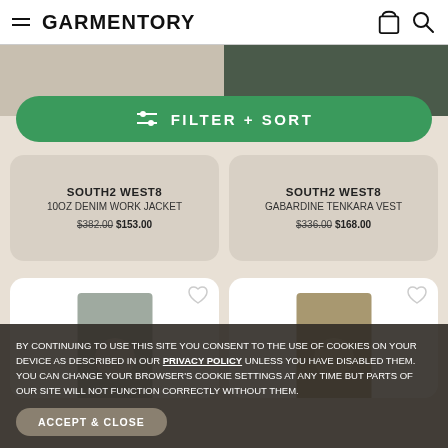GARMENTORY
[Figure (screenshot): Product image strip showing two garments at the top of a shopping page]
FILTER + SORT
SOUTH2 WEST8
10OZ DENIM WORK JACKET
$382.00 $153.00
SOUTH2 WEST8
GABARDINE TENKARA VEST
$336.00 $168.00
[Figure (photo): Model wearing a dark vest over white t-shirt]
[Figure (photo): Model wearing a plaid flannel shirt]
BY CONTINUING TO USE THIS SITE YOU CONSENT TO THE USE OF COOKIES ON YOUR DEVICE AS DESCRIBED IN OUR PRIVACY POLICY UNLESS YOU HAVE DISABLED THEM. YOU CAN CHANGE YOUR BROWSER'S COOKIE SETTINGS AT ANY TIME BUT PARTS OF OUR SITE WILL NOT FUNCTION CORRECTLY WITHOUT THEM.
ACCEPT & CLOSE